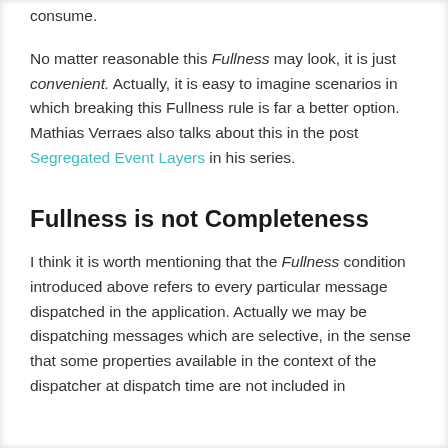consume.
No matter reasonable this Fullness may look, it is just convenient. Actually, it is easy to imagine scenarios in which breaking this Fullness rule is far a better option. Mathias Verraes also talks about this in the post Segregated Event Layers in his series.
Fullness is not Completeness
I think it is worth mentioning that the Fullness condition introduced above refers to every particular message dispatched in the application. Actually we may be dispatching messages which are selective, in the sense that some properties available in the context of the dispatcher at dispatch time are not included in